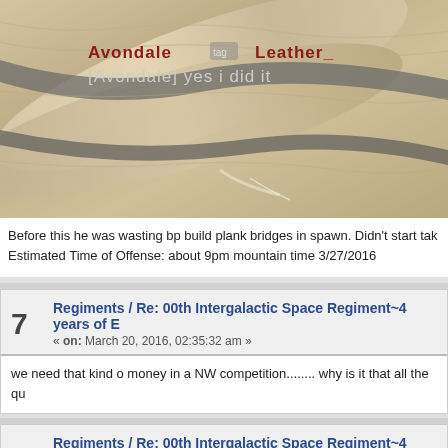[Figure (screenshot): Game screenshot showing fabric/rope texture with chat overlay. Chat shows usernames 'Avondale' and 'Leather_' with tags, and message '[Avondale] yes i did it']
Before this he was wasting bp build plank bridges in spawn. Didn't start tak Estimated Time of Offense: about 9pm mountain time 3/27/2016
7  Regiments / Re: 00th Intergalactic Space Regiment~4 years of E
« on: March 20, 2016, 02:35:32 am »
we need that kind o money in a NW competition........ why is it that all the qu
8  Regiments / Re: 00th Intergalactic Space Regiment~4 years of E
« on: March 19, 2016, 07:12:48 am »